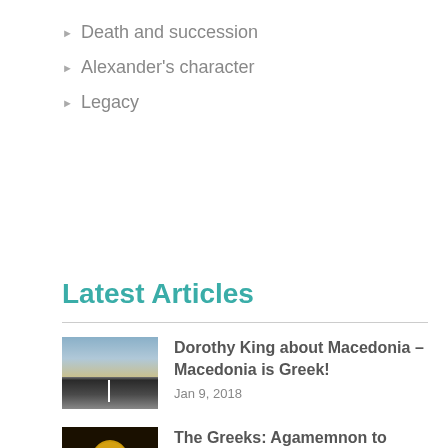Death and succession
Alexander's character
Legacy
Latest Articles
Dorothy King about Macedonia – Macedonia is Greek!
Jan 9, 2018
The Greeks: Agamemnon to Alexander the Great
Apr 10, 2016